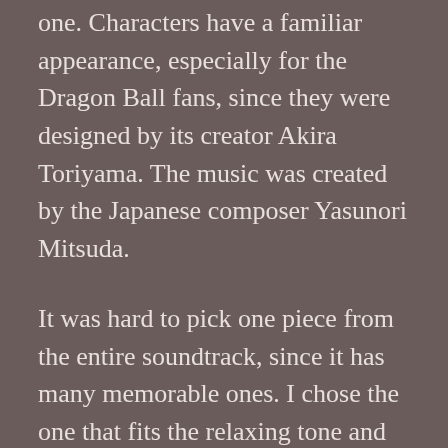one. Characters have a familiar appearance, especially for the Dragon Ball fans, since they were designed by its creator Akira Toriyama. The music was created by the Japanese composer Yasunori Mitsuda.
It was hard to pick one piece from the entire soundtrack, since it has many memorable ones. I chose the one that fits the relaxing tone and mental trip of the rest of the pieces I have mentioned. While listening to it you really feel like being in a forest, but there is something hidden in the green of the vegetation. This is a new digitalized version that make the instruments sound more realistic, created by the Youtuber called Malcolm Robinson Music: